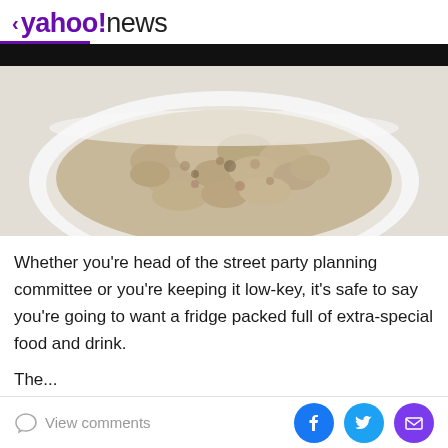< yahoo!news
[Figure (photo): A close-up photo of a bowl of oatmeal/porridge in a white bowl against a white background, with a black bar above the photo section.]
Whether you're head of the street party planning committee or you're keeping it low-key, it's safe to say you're going to want a fridge packed full of extra-special food and drink.
The...
View comments  [Facebook] [Twitter] [Mail]